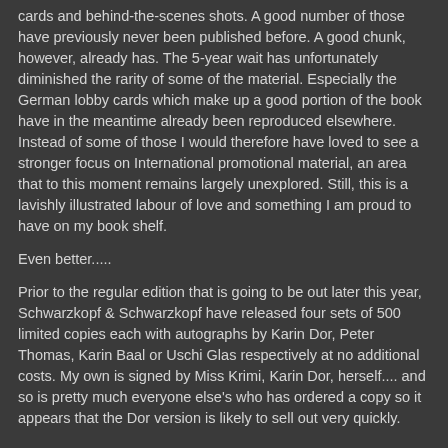cards and behind-the-scenes shots. A good number of those have previously never been published before. A good chunk, however, already has. The 5-year wait has unfortunately diminished the rarity of some of the material. Especially the German lobby cards which make up a good portion of the book have in the meantime already been reproduced elsewhere. Instead of some of those I would therefore have loved to see a stronger focus on International promotional material, an area that to this moment remains largely unexplored. Still, this is a lavishly illustrated labour of love and something I am proud to have on my book shelf.
Even better.....
Prior to the regular edition that is going to be out later this year, Schwarzkopf & Schwarzkopf have released four sets of 500 limited copies each with autographs by Karin Dor, Peter Thomas, Karin Baal or Uschi Glas respectively at no additional costs. My own is signed by Miss Krimi, Karin Dor, herself.... and so is pretty much everyone else's who has ordered a copy so it appears that the Dor version is likely to sell out very quickly.